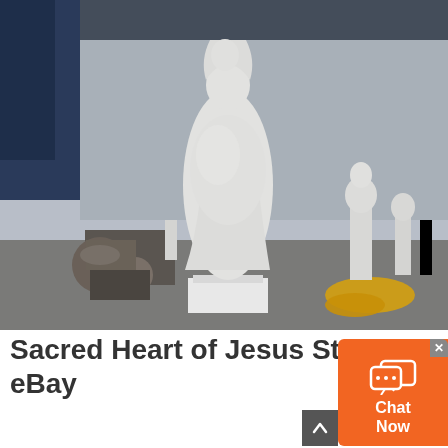[Figure (photo): Outdoor sculpture yard showing a large white marble statue of the Virgin Mary holding the Christ child in her arms. Multiple other white marble statues are visible in the background. Yellow hose coiled on ground at right. Industrial building with dark roof visible in background.]
Sacred Heart of Jesus Statu... eBay